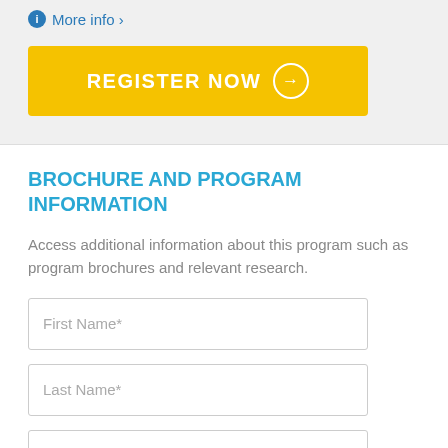More info ›
[Figure (other): Yellow REGISTER NOW button with right arrow circle icon]
BROCHURE AND PROGRAM INFORMATION
Access additional information about this program such as program brochures and relevant research.
First Name*
Last Name*
Company Name*